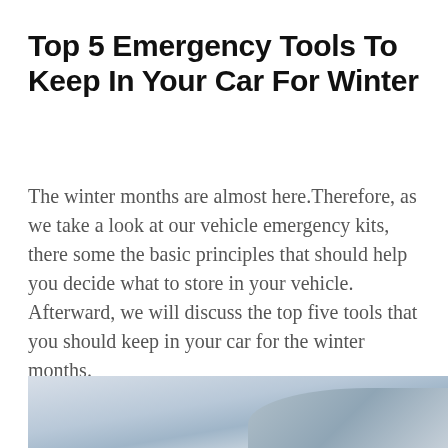Top 5 Emergency Tools To Keep In Your Car For Winter
The winter months are almost here.Therefore, as we take a look at our vehicle emergency kits, there some the basic principles that should help you decide what to store in your vehicle. Afterward, we will discuss the top five tools that you should keep in your car for the winter months.
[Figure (photo): Partial snowy winter landscape photo, showing mountains or snow-covered terrain, partially visible at the bottom of the page.]